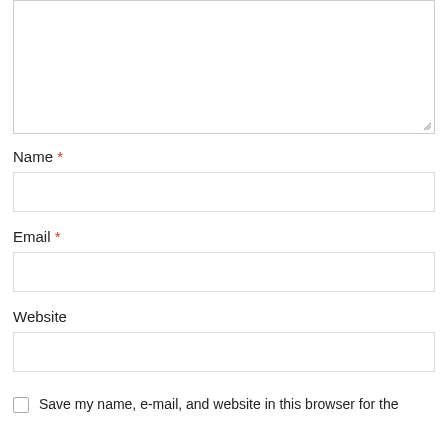[Figure (other): Textarea input box (comment field, top of page, partially visible)]
Name *
[Figure (other): Single-line text input box for Name field]
Email *
[Figure (other): Single-line text input box for Email field]
Website
[Figure (other): Single-line text input box for Website field]
Save my name, e-mail, and website in this browser for the